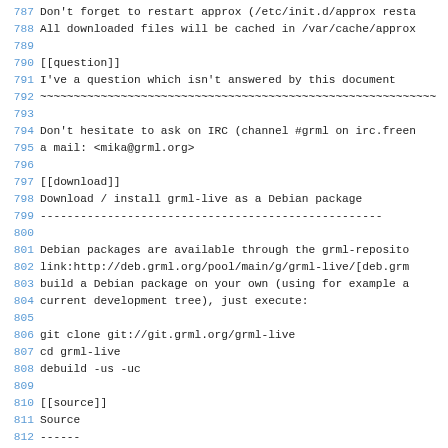787 Don't forget to restart approx (/etc/init.d/approx resta
788 All downloaded files will be cached in /var/cache/approx
789
790 [[question]]
791 I've a question which isn't answered by this document
792 ~~~~~~~~~~~~~~~~~~~~~~~~~~~~~~~~~~~~~~~~~~~~~~~~~~~~~~~~~~~
793
794 Don't hesitate to ask on IRC (channel #grml on irc.free
795 a mail: <mika@grml.org>
796
797 [[download]]
798 Download / install grml-live as a Debian package
799 ---------------------------------------------------
800
801 Debian packages are available through the grml-reposito
802 link:http://deb.grml.org/pool/main/g/grml-live/[deb.grm
803 build a Debian package on your own (using for example a
804 current development tree), just execute:
805
806   git clone git://git.grml.org/grml-live
807   cd grml-live
808   debuild -us -uc
809
810 [[source]]
811 Source
812 ------
813